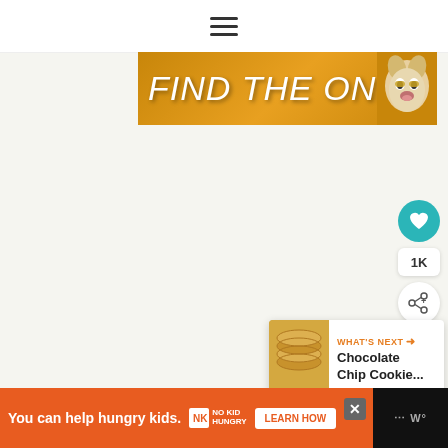≡ (hamburger menu)
[Figure (illustration): Banner image with gold/orange background reading FIND THE ONE with a dog wearing sunglasses on the right side]
[Figure (infographic): Social interaction panel with teal heart button, 1K count, and share button]
[Figure (infographic): What's Next panel showing cookies image with text 'Chocolate Chip Cookie...']
[Figure (illustration): Orange advertisement banner: 'You can help hungry kids.' with No Kid Hungry logo and LEARN HOW button]